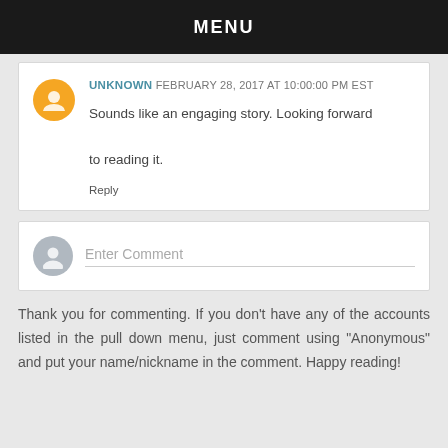MENU
UNKNOWN FEBRUARY 28, 2017 AT 10:00:00 PM EST
Sounds like an engaging story. Looking forward to reading it.
Reply
[Figure (other): Enter Comment input field with gray avatar icon]
Thank you for commenting. If you don't have any of the accounts listed in the pull down menu, just comment using "Anonymous" and put your name/nickname in the comment. Happy reading!